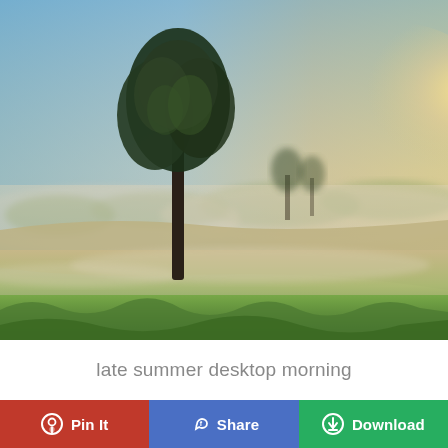[Figure (photo): Landscape photo of a misty late summer morning field with a lone tree silhouetted against a warm glowing sunrise sky, green grassland in the foreground with morning mist]
late summer desktop morning
Pin It
Share
Download